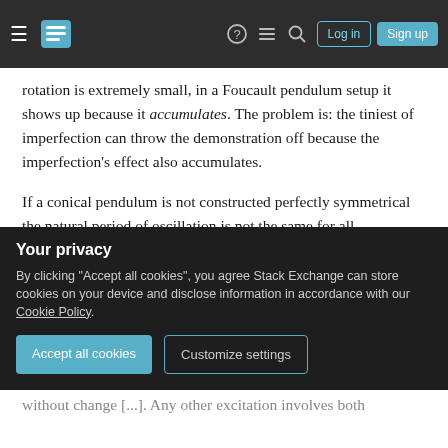Stack Exchange navigation bar with hamburger menu, logo, help, chat, search icons, Log in and Sign up buttons
rotation is extremely small, in a Foucault pendulum setup it shows up because it accumulates. The problem is: the tiniest of imperfection can throw the demonstration off because the imperfection's effect also accumulates.
If a conical pendulum is not constructed perfectly symmetrical the natural period of oscillation is not the same for all orientations of the plane of swing. The difference will be exceedingly small, but as mentioned in the previous paragraph, the effect accumulates.
Sylvie DuBois writes about the solutions to the equation
Your privacy — By clicking "Accept all cookies", you agree Stack Exchange can store cookies on your device and disclose information in accordance with our Cookie Policy. [Accept all cookies] [Customize settings]
without change [...]. Any other excitation involves both